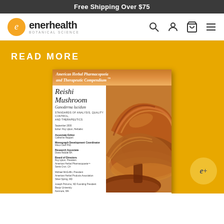Free Shipping Over $75
[Figure (logo): Enerhealth Botanical Science logo with orange circle e icon, search, account, cart, and menu icons in navigation bar]
READ MORE
[Figure (photo): Book cover: American Herbal Pharmacopoeia and Therapeutic Compendium - Reishi Mushroom (Ganoderma lucidum) Standards of Analysis, Quality Control, and Therapeutics. September 2000. Shows reishi mushroom photo on right side.]